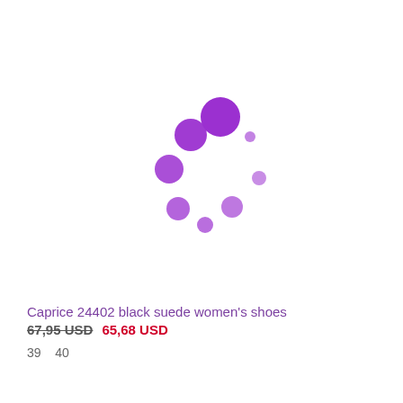[Figure (other): Purple loading spinner animation indicator — a circular arrangement of dots in varying sizes, in shades of purple, forming a ring/arc shape]
Caprice 24402 black suede women's shoes
67,95 USD  65,68 USD
39   40